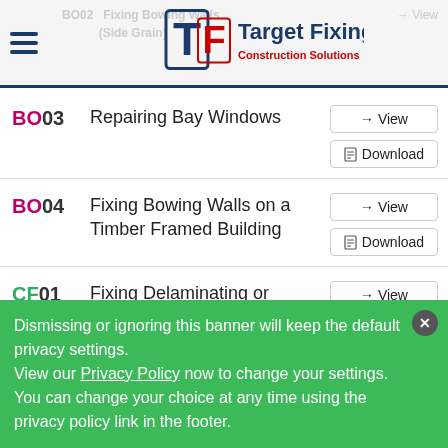Target Fixings Construction Solutions | BO02 Fixing Bowing Walls (Side Grain)
BO03 Repairing Bay Windows → View | Download
BO04 Fixing Bowing Walls on a Timber Framed Building → View | Download
CF01 Fixing Delaminating or Separating Masonry → View | Download
Dismissing or ignoring this banner will keep the default privacy settings.
View our Privacy Policy now to change your settings.
You can change your choice at any time using the privacy policy link in the footer.